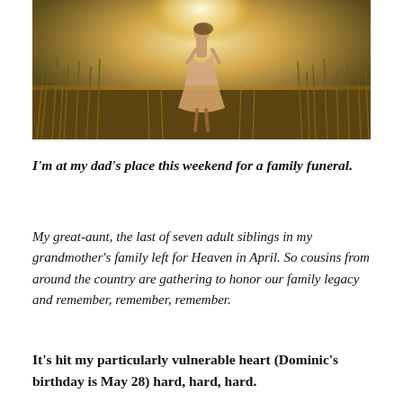[Figure (photo): A person in a light pink/beige dress standing in a golden sunlit field of tall wild grasses, viewed from behind, with bright glowing light in the background.]
I'm at my dad's place this weekend for a family funeral.
My great-aunt, the last of seven adult siblings in my grandmother's family left for Heaven in April. So cousins from around the country are gathering to honor our family legacy and remember, remember, remember.
It's hit my particularly vulnerable heart (Dominic's birthday is May 28) hard, hard, hard.